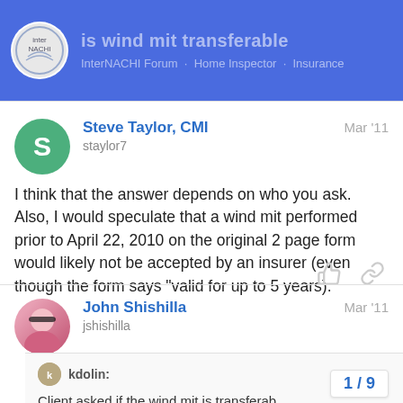is wind mit transferable
[Figure (logo): InterNACHI logo circle]
Steve Taylor, CMI staylor7 Mar '11
I think that the answer depends on who you ask. Also, I would speculate that a wind mit performed prior to April 22, 2010 on the original 2 page form would likely not be accepted by an insurer (even though the form says "valid for up to 5 years).
John Shishilla jshishilla Mar '11
kdolin: Client asked if the wind mit is transferab Any one know?
1 / 9